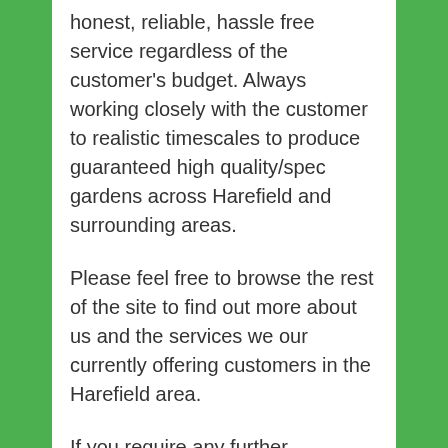honest, reliable, hassle free service regardless of the customer's budget. Always working closely with the customer to realistic timescales to produce guaranteed high quality/spec gardens across Harefield and surrounding areas.
Please feel free to browse the rest of the site to find out more about us and the services we our currently offering customers in the Harefield area.
If you require any further assistance don't hesitate contacting us, to answer a general query or just to take advantage of our FREE SURVEY, FREE DESIGN and FREE ESTIMATE SERVICE we our currently offering to all our